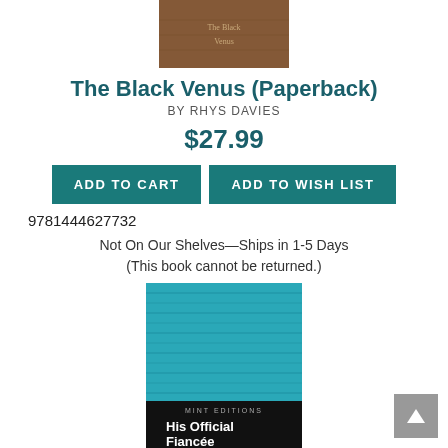[Figure (photo): Top portion of a brown book cover for 'The Black Venus']
The Black Venus (Paperback)
BY RHYS DAVIES
$27.99
ADD TO CART
ADD TO WISH LIST
9781444627732
Not On Our Shelves—Ships in 1-5 Days
(This book cannot be returned.)
[Figure (photo): Book cover for 'His Official Fiancée' by Berta Ruck — teal/blue textured cover with black band showing title and author]
His Official Fiancee (Paperback)...
BY BETRA RUCK, MINT EDITIONS (CONTRIBUTION BY)